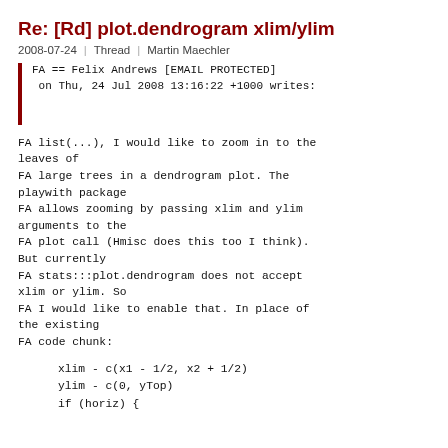Re: [Rd] plot.dendrogram xlim/ylim
2008-07-24  |  Thread  |  Martin Maechler
FA == Felix Andrews [EMAIL PROTECTED]
 on Thu, 24 Jul 2008 13:16:22 +1000 writes:
FA list(...), I would like to zoom in to the leaves of
FA large trees in a dendrogram plot. The playwith package
FA allows zooming by passing xlim and ylim arguments to the
FA plot call (Hmisc does this too I think). But currently
FA stats:::plot.dendrogram does not accept xlim or ylim. So
FA I would like to enable that. In place of the existing
FA code chunk:
xlim - c(x1 - 1/2, x2 + 1/2)
ylim - c(0, yTop)
if (horiz) {